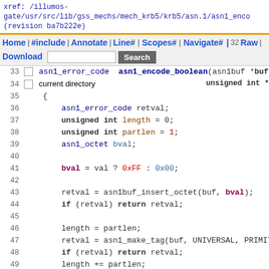xref: /illumos-gate/usr/src/lib/gss_mechs/mech_krb5/krb5/asn.1/asn1_enco (revision ba7b222e)
Home | #include | Annotate | Line# | Scopes# | Navigate# | 32 Raw | Download [Search] current directory
[Figure (screenshot): Source code viewer showing C function asn1_encode_boolean, lines 33-55, with syntax highlighting. Code includes variable declarations, bval assignment, asn1buf_insert_octet call, asn1_make_tag call, and return statements.]